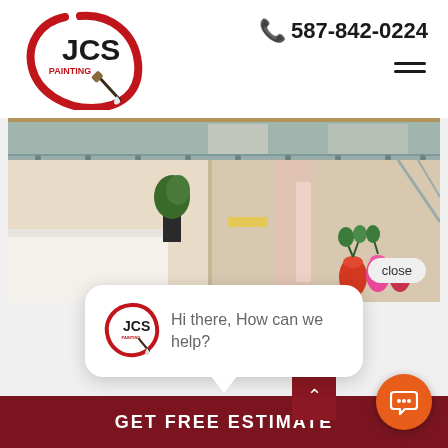[Figure (logo): JCS Painting logo — circular red brushstroke with paintbrush, 'JCS' in black bold, 'PAINTING' in red beneath]
587-842-0224
[Figure (photo): Interior office/lobby scene with glass railing, white walls, plants, colorful vases]
close
[Figure (logo): JCS Painting small logo in chat popup]
Hi there, How can we help?
GET FREE ESTIMATE